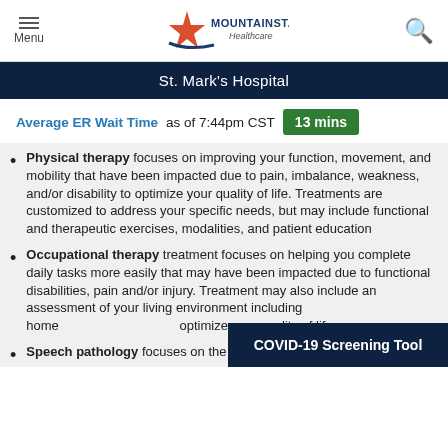Menu | MountainStar Healthcare | Search
St. Mark's Hospital
Average ER Wait Time as of 7:44pm CST  13 mins
Physical therapy focuses on improving your function, movement, and mobility that have been impacted due to pain, imbalance, weakness, and/or disability to optimize your quality of life. Treatments are customized to address your specific needs, but may include functional and therapeutic exercises, modalities, and patient education
Occupational therapy treatment focuses on helping you complete daily tasks more easily that may have been impacted due to functional disabilities, pain and/or injury. Treatment may also include an assessment of your living environment including home… optimize your quality of life.
Speech pathology focuses on the treatment of individuals
COVID-19 Screening Tool